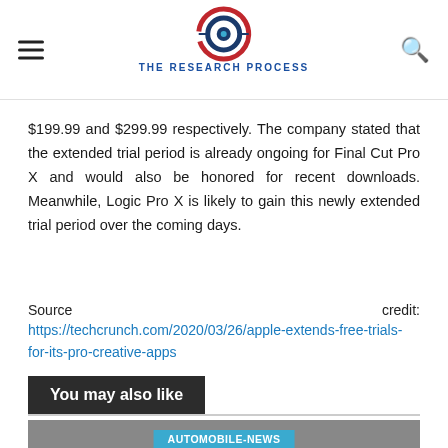THE RESEARCH PROCESS
$199.99 and $299.99 respectively. The company stated that the extended trial period is already ongoing for Final Cut Pro X and would also be honored for recent downloads. Meanwhile, Logic Pro X is likely to gain this newly extended trial period over the coming days.
Source credit: https://techcrunch.com/2020/03/26/apple-extends-free-trials-for-its-pro-creative-apps
You may also like
AUTOMOBILE-NEWS
Uber announces sale of